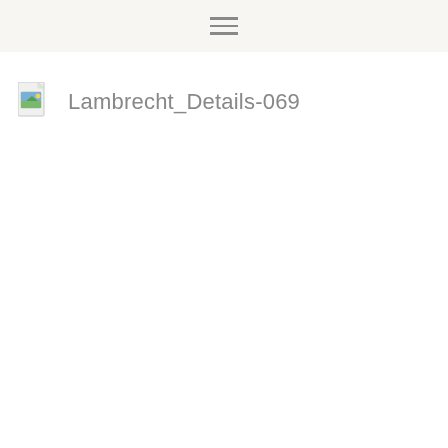[Figure (other): File icon with image placeholder (broken image icon style with landscape thumbnail)]
Lambrecht_Details-069